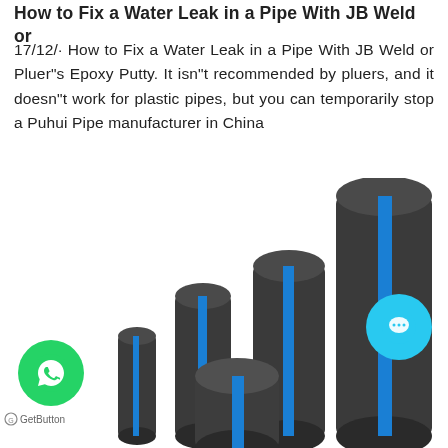How to Fix a Water Leak in a Pipe With JB Weld or
17/12/· How to Fix a Water Leak in a Pipe With JB Weld or Pluer"s Epoxy Putty. It isn"t recommended by pluers, and it doesn"t work for plastic pipes, but you can temporarily stop a Puhui Pipe manufacturer in China
[Figure (photo): Multiple dark grey HDPE pipes of varying sizes standing upright, each with a blue vertical stripe, arranged from smallest to largest from left to right, on a white background.]